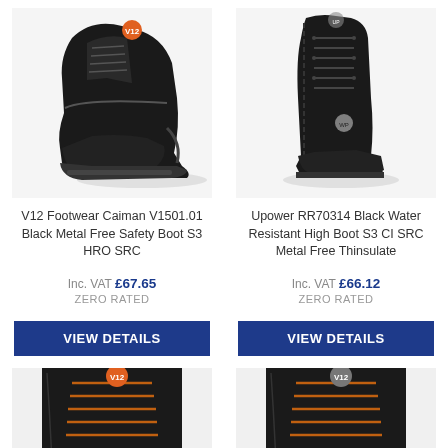[Figure (photo): V12 Footwear Caiman V1501.01 black safety boot product photo, top-left]
[Figure (photo): Upower RR70314 black water resistant high boot product photo, top-right]
V12 Footwear Caiman V1501.01 Black Metal Free Safety Boot S3 HRO SRC
Upower RR70314 Black Water Resistant High Boot S3 CI SRC Metal Free Thinsulate
Inc. VAT £67.65
ZERO RATED
Inc. VAT £66.12
ZERO RATED
VIEW DETAILS
VIEW DETAILS
[Figure (photo): V12 safety boot partial product photo, bottom-left]
[Figure (photo): V12 safety boot partial product photo, bottom-right]